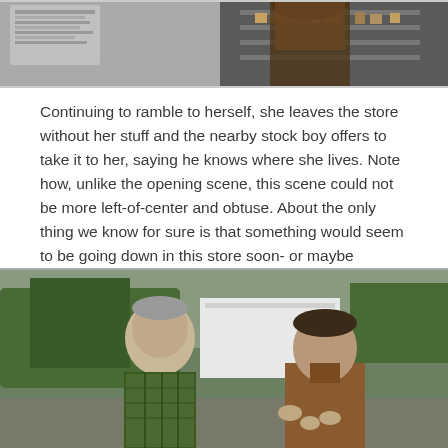[Figure (photo): Top portion of a photo showing a store scene, partially cropped. A person in a brown jacket is visible from behind, and store shelves with products are in the background.]
Continuing to ramble to herself, she leaves the store without her stuff and the nearby stock boy offers to take it to her, saying he knows where she lives. Note how, unlike the opening scene, this scene could not be more left-of-center and obtuse. About the only thing we know for sure is that something would seem to be going down in this store soon- or maybe already did. We also know that Mrs. Palmer's visions have a way of coming true, as per the original show.
[Figure (photo): Two older men facing each other outdoors. The man on the left wears a green plaid shirt. The man on the right wears a brown suede jacket and appears to be gesturing with his hands. Trees and a white building are visible in the background.]